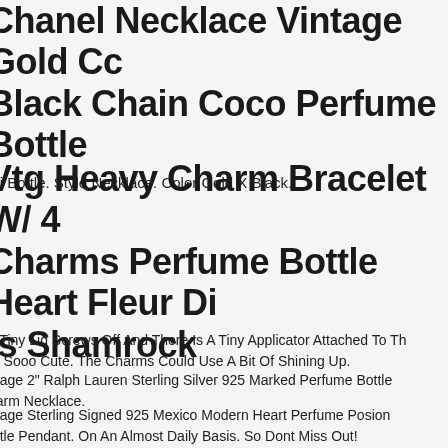Chanel Necklace Vintage Gold Cc Black Chain Coco Perfume Bottle
ini Bottle. Style Necklace. Color Gold X Black.
Vtg Heavy Charm Bracelet W/ 4 Charms Perfume Bottle Heart Fleur Dis Shamrock
e Tiny Lid Screws Off And There Is A Tiny Applicator Attached To The Top. Sooo Cute. The Charms Could Use A Bit Of Shining Up.
ntage 2" Ralph Lauren Sterling Silver 925 Marked Perfume Bottle Charm Necklace.
ntage Sterling Signed 925 Mexico Modern Heart Perfume Posion Bottle Pendant. On An Almost Daily Basis. So Dont Miss Out!